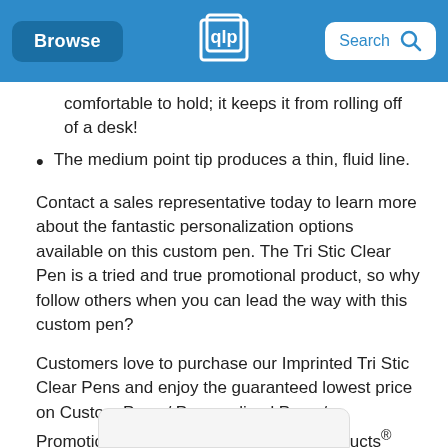Browse | [Quality Logo Products logo] | Search
comfortable to hold; it keeps it from rolling off of a desk!
The medium point tip produces a thin, fluid line.
Contact a sales representative today to learn more about the fantastic personalization options available on this custom pen. The Tri Stic Clear Pen is a tried and true promotional product, so why follow others when you can lead the way with this custom pen?
Customers love to purchase our Imprinted Tri Stic Clear Pens and enjoy the guaranteed lowest price on Custom Pens / Personalized Pens / Promotional Pens from Quality Logo Products®